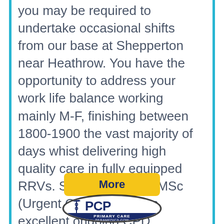you may be required to undertake occasional shifts from our base at Shepperton near Heathrow. You have the opportunity to address your work life balance working mainly M-F, finishing between 1800-1900 the vast majority of days whist delivering high quality care in fully equipped RRVs. Support towards MSc (Urgent Care) as well as excellent ongoing CPD.
[Figure (other): Yellow 'More' button]
[Figure (logo): PCP Primary Care Paramedics.com logo — oval badge with caduceus symbol, dark navy text 'PCP' large, 'Primary Care Paramedics.com' below]